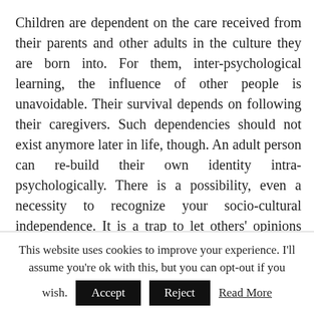Children are dependent on the care received from their parents and other adults in the culture they are born into. For them, inter-psychological learning, the influence of other people is unavoidable. Their survival depends on following their caregivers. Such dependencies should not exist anymore later in life, though. An adult person can re-build their own identity intra-psychologically. There is a possibility, even a necessity to recognize your socio-cultural independence. It is a trap to let others' opinions and beliefs define one. Therefore, such an awareness allows you to free yourself from backward-related definitions of your person by others.
This website uses cookies to improve your experience. I'll assume you're ok with this, but you can opt-out if you wish. Accept Reject Read More